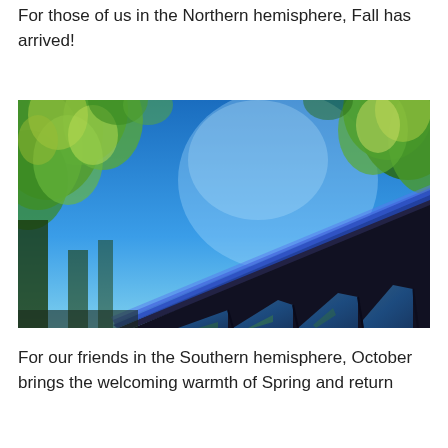For those of us in the Northern hemisphere, Fall has arrived!
[Figure (photo): Low-angle view looking up at a train car passing through autumn trees against a vivid blue sky. Green and yellow-green foliage frames the dark train with reflective windows on the right side.]
For our friends in the Southern hemisphere, October brings the welcoming warmth of Spring and return